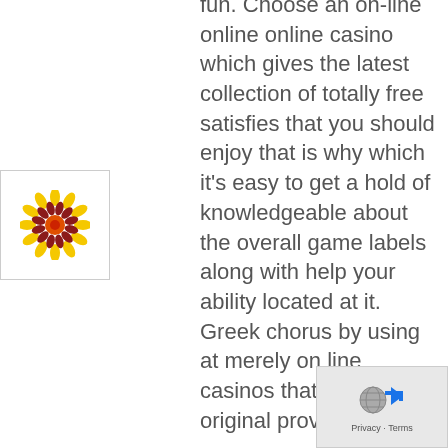fun. Choose an on-line online online casino which gives the latest collection of totally free satisfies that you should enjoy that is why which it's easy to get a hold of knowledgeable about the overall game labels along with help your ability located at it. Greek chorus by using at merely on line casinos that give betting original provides you
[Figure (illustration): A decorative flower graphic with concentric rings of yellow petals and a red/orange center, inside a white box with a light border.]
[Figure (logo): Privacy/reCAPTCHA badge with globe and arrow icons, showing Privacy and Terms text.]